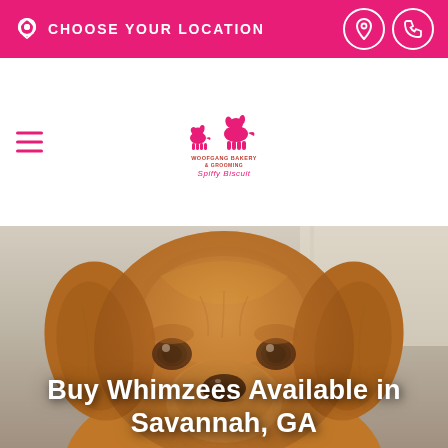CHOOSE YOUR LOCATION
[Figure (logo): Woofgang Bakery & Grooming / Spiffy Biscuit logo with two dog silhouettes]
[Figure (photo): Close-up photo of a golden retriever dog looking at the camera with a blurred background]
Buy Whimzees Available in Savannah, GA